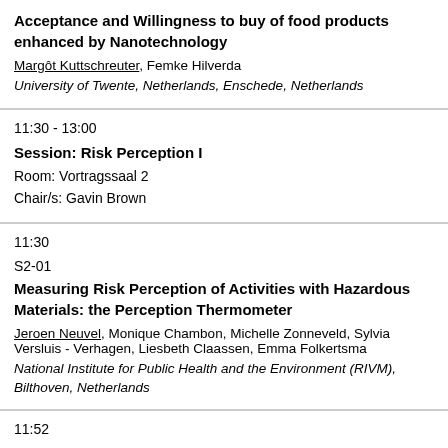Acceptance and Willingness to buy of food products enhanced by Nanotechnology
Margôt Kuttschreuter, Femke Hilverda
University of Twente, Netherlands, Enschede, Netherlands
11:30 - 13:00
Session: Risk Perception I
Room: Vortragssaal 2
Chair/s: Gavin Brown
11:30
S2-01
Measuring Risk Perception of Activities with Hazardous Materials: the Perception Thermometer
Jeroen Neuvel, Monique Chambon, Michelle Zonneveld, Sylvia Versluis - Verhagen, Liesbeth Claassen, Emma Folkertsma
National Institute for Public Health and the Environment (RIVM), Bilthoven, Netherlands
11:52